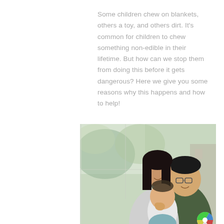Some children chew on blankets, others a toy, and others dirt. It's common for children to chew something non-edible in their lifetime. But how can we stop them from doing this before it gets dangerous? Here we give you some reasons why this happens and how to help!
[Figure (photo): A family photo showing a mother and father holding a baby/toddler. The mother is behind the child smiling, and the father with glasses is beside them smiling. Background shows greenery through large windows.]